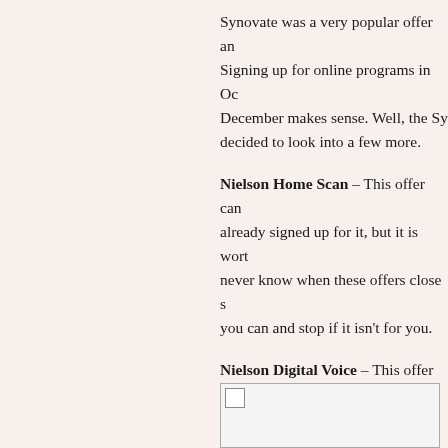Synovate was a very popular offer an... Signing up for online programs in Oc... December makes sense. Well, the Syn... decided to look into a few more.
Nielson Home Scan – This offer can... already signed up for it, but it is wort... never know when these offers close s... you can and stop if it isn't for you.
Nielson Digital Voice – This offer ca... research on television habits. Fill out... last time we did this we were asked to... watched for a week and they gave us...
Mindfield – This offer can be found h... send you surveys and you will win ca...
[Figure (photo): A partially visible image placeholder with broken image icon in the bottom right area of the page.]